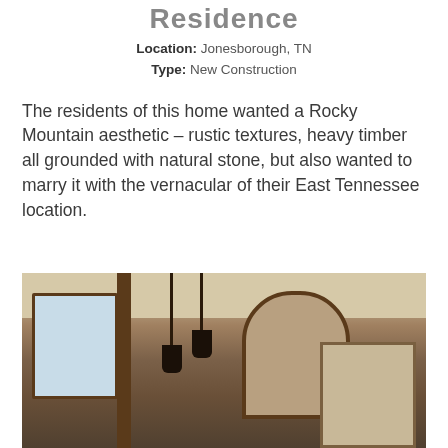Residence
Location: Jonesborough, TN
Type: New Construction
The residents of this home wanted a Rocky Mountain aesthetic – rustic textures, heavy timber all grounded with natural stone, but also wanted to marry it with the vernacular of their East Tennessee location.
[Figure (photo): Interior of a rustic Rocky Mountain style home with timber beams, arched doorways, pendant lighting, large windows, and a stone fireplace.]